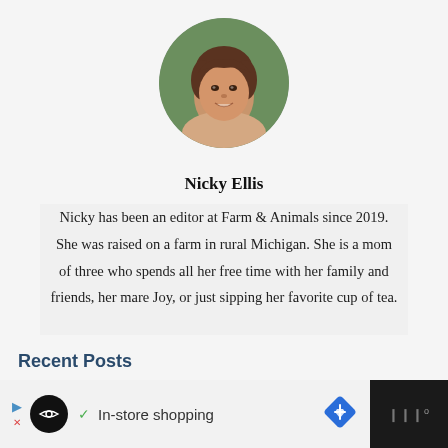[Figure (photo): Circular profile photo of Nicky Ellis, a woman with short brown hair, smiling, outdoors with green background]
Nicky Ellis
Nicky has been an editor at Farm & Animals since 2019. She was raised on a farm in rural Michigan. She is a mom of three who spends all her free time with her family and friends, her mare Joy, or just sipping her favorite cup of tea.
Recent Posts
[Figure (screenshot): Advertisement bar at bottom of page showing store shopping icons and navigation symbols on dark background]